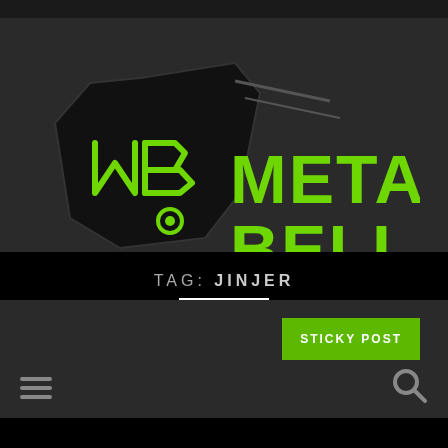[Figure (logo): MetalBell logo: dark angular MB emblem on left with green METALBELL text on right]
[Figure (infographic): Hamburger menu icon (three horizontal lines) on left, search magnifying glass icon on right, in dark navigation bar]
TAG: JINJER
STICKY POST